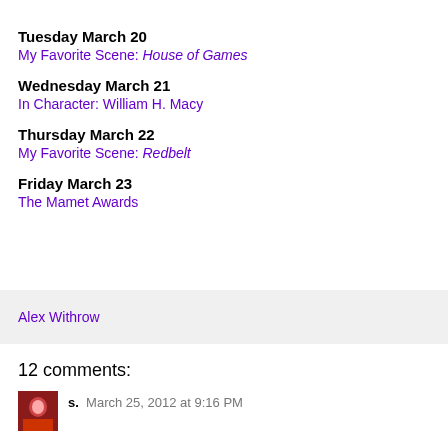Tuesday March 20
My Favorite Scene: House of Games
Wednesday March 21
In Character: William H. Macy
Thursday March 22
My Favorite Scene: Redbelt
Friday March 23
The Mamet Awards
Alex Withrow
12 comments:
s.  March 25, 2012 at 9:16 PM